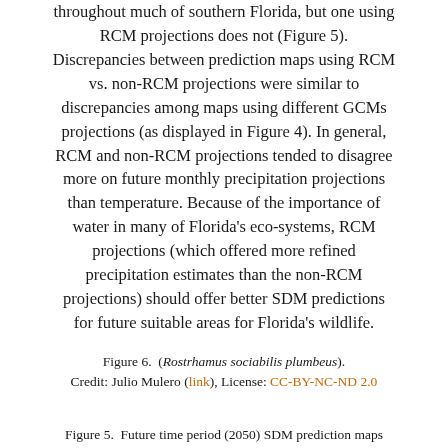throughout much of southern Florida, but one using RCM projections does not (Figure 5). Discrepancies between prediction maps using RCM vs. non-RCM projections were similar to discrepancies among maps using different GCMs projections (as displayed in Figure 4). In general, RCM and non-RCM projections tended to disagree more on future monthly precipitation projections than temperature. Because of the importance of water in many of Florida's eco-systems, RCM projections (which offered more refined precipitation estimates than the non-RCM projections) should offer better SDM predictions for future suitable areas for Florida's wildlife.
Figure 6.  (Rostrhamus sociabilis plumbeus). Credit: Julio Mulero (link), License: CC-BY-NC-ND 2.0
Figure 5.  Future time period (2050) SDM prediction maps